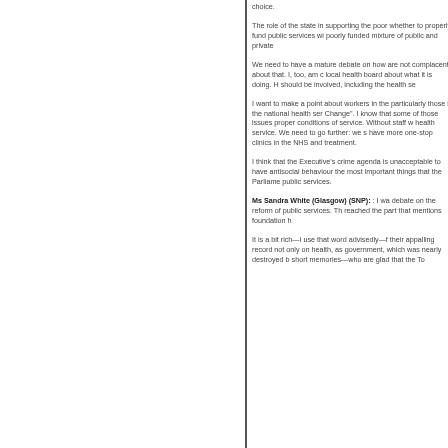choice.
The role of the state in supporting the poor whether to properly fund public services wi poorly funded mixture of public and private
We need to have a mature debate on how are not complacent about that. I, too, am c local health board about what it is doing. H should be involved, including the health se
I want to make a point about workers in th particularly those in the national health ser Change". I know that some of those issues proper conditions of service. Without staff health service. We need to go further: we s have more one-stop clinics in the NHS and treatment.
I think that the Executive's crime agenda i unacceptable to have antisocial behaviour the most important things that the Parliame public services.
Ms Sandra White (Glasgow) (SNP): : I w debate on the reform of public services. Th reached the part that mentions foundation h
It is a bit rich—I use that word advisedly— their appalling record not only on health, as government, which was nearly destroyed b short memories—who are glad that the To